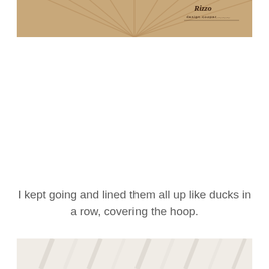[Figure (photo): Close-up photo of a wooden hoop with radiating spokes and a logo reading 'Rizzo design cooper' in the upper right corner]
I kept going and lined them all up like ducks in a row, covering the hoop.
[Figure (photo): Partial photo of a white/cream colored hoop wrapping material or fabric, bottom of page cropped]